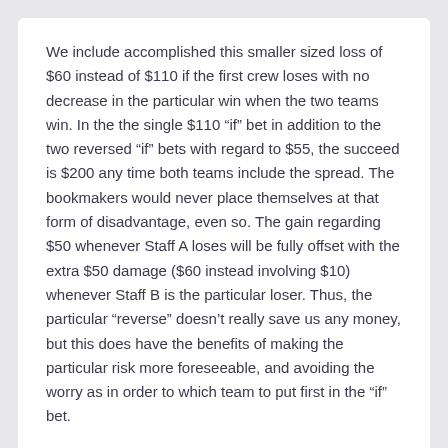We include accomplished this smaller sized loss of $60 instead of $110 if the first crew loses with no decrease in the particular win when the two teams win. In the the single $110 “if” bet in addition to the two reversed “if” bets with regard to $55, the succeed is $200 any time both teams include the spread. The bookmakers would never place themselves at that form of disadvantage, even so. The gain regarding $50 whenever Staff A loses will be fully offset with the extra $50 damage ($60 instead involving $10) whenever Staff B is the particular loser. Thus, the particular “reverse” doesn’t really save us any money, but this does have the benefits of making the particular risk more foreseeable, and avoiding the worry as in order to which team to put first in the “if” bet.
January 12, 2022 by admin   Uncategorized   0